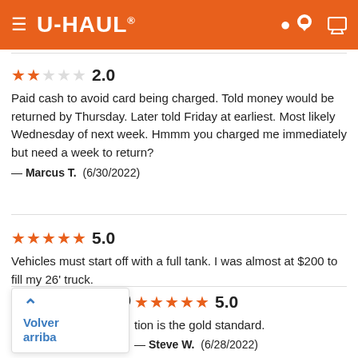[Figure (screenshot): U-Haul website header with orange background, hamburger menu, U-HAUL logo, location pin icon, and shopping cart icon]
2.0
Paid cash to avoid card being charged. Told money would be returned by Thursday. Later told Friday at earliest. Most likely Wednesday of next week. Hmmm you charged me immediately but need a week to return?
— Marcus T. (6/30/2022)
5.0
Vehicles must start off with a full tank. I was almost at $200 to fill my 26' truck.
— David T. (6/28/2022)
5.0
tion is the gold standard.
— Steve W. (6/28/2022)
Volver arriba